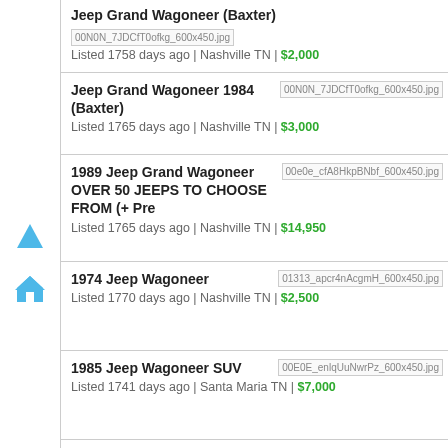Jeep Grand Wagoneer (Baxter)
Listed 1758 days ago | Nashville TN | $2,000
Jeep Grand Wagoneer 1984 (Baxter)
Listed 1765 days ago | Nashville TN | $3,000
1989 Jeep Grand Wagoneer OVER 50 JEEPS TO CHOOSE FROM (+ Pre
Listed 1765 days ago | Nashville TN | $14,950
1974 Jeep Wagoneer
Listed 1770 days ago | Nashville TN | $2,500
1985 Jeep Wagoneer SUV
Listed 1741 days ago | Santa Maria TN | $7,000
1978 jeep Wagoner 4x4 (Lompoc)
Listed 1753 days ago | Santa Maria TN | $6,500